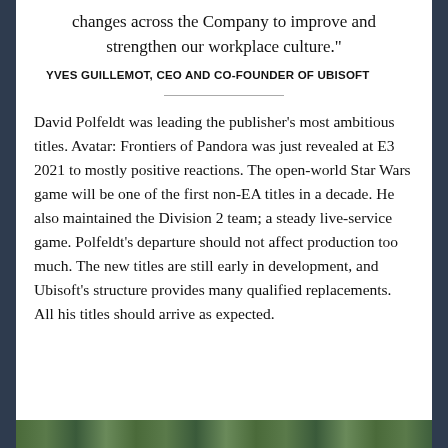changes across the Company to improve and strengthen our workplace culture."
YVES GUILLEMOT, CEO AND CO-FOUNDER OF UBISOFT
David Polfeldt was leading the publisher's most ambitious titles. Avatar: Frontiers of Pandora was just revealed at E3 2021 to mostly positive reactions. The open-world Star Wars game will be one of the first non-EA titles in a decade. He also maintained the Division 2 team; a steady live-service game. Polfeldt's departure should not affect production too much. The new titles are still early in development, and Ubisoft's structure provides many qualified replacements. All his titles should arrive as expected.
[Figure (photo): Partial image strip visible at bottom of page, appears to show outdoor/nature scene]